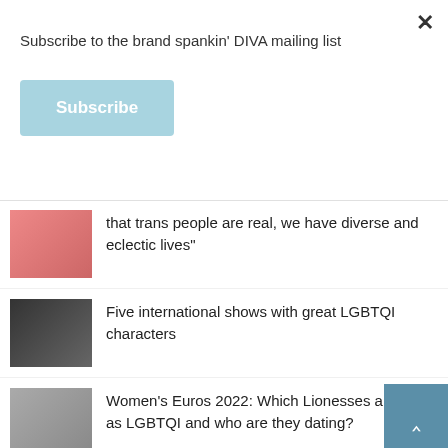Subscribe to the brand spankin' DIVA mailing list
Subscribe
that trans people are real, we have diverse and eclectic lives"
Five international shows with great LGBTQI characters
Women's Euros 2022: Which Lionesses are out as LGBTQI and who are they dating?
11 must-see lesbian and bi short films you can watch on YouTube right now
MARRIAGE STORY: The best of lez/bi love
The Sandman is the queer dark fantasy been waiting for